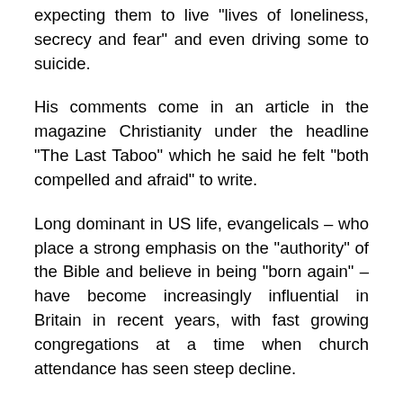expecting them to live “lives of loneliness, secrecy and fear” and even driving some to suicide.
His comments come in an article in the magazine Christianity under the headline “The Last Taboo” which he said he felt “both compelled and afraid” to write.
Long dominant in US life, evangelicals – who place a strong emphasis on the “authority” of the Bible and believe in being “born again” – have become increasingly influential in Britain in recent years, with fast growing congregations at a time when church attendance has seen steep decline.
But although evangelicalism is often viewed as a bastion of conservative values, it also has a long-stranding association with “radical” causes dating back to the 19th Century